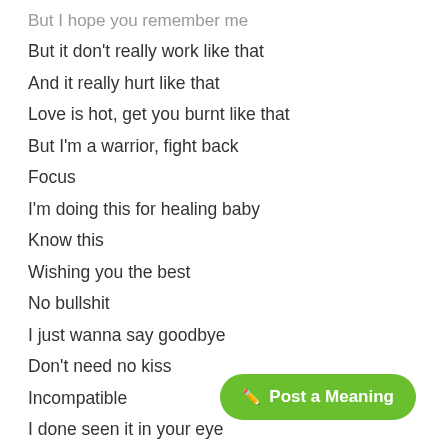But I hope you remember me
But it don't really work like that
And it really hurt like that
Love is hot, get you burnt like that
But I'm a warrior, fight back
Focus
I'm doing this for healing baby
Know this
Wishing you the best
No bullshit
I just wanna say goodbye
Don't need no kiss
Incompatible
I done seen it in your eye
Incompatible
Fooled myself the whole damn ti...